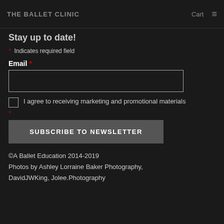THE BALLET CLINIC   Cart  ☰
Stay up to date!
* Indicates required field
Email *
I agree to receiving marketing and promotional materials
SUBSCRIBE TO NEWSLETTER
©A Ballet Education 2014-2019
Photos by Ashley Lorraine Baker Photography, DavidJWKing, Jolee.Photography